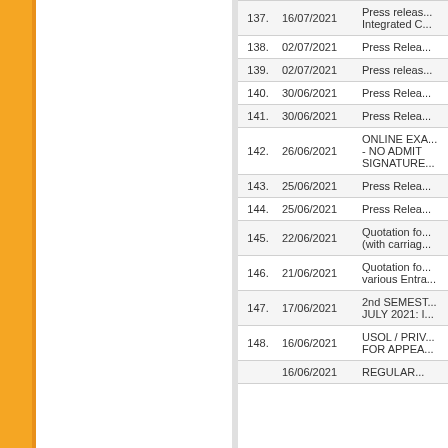| No. | Date | Title |
| --- | --- | --- |
| 137. | 16/07/2021 | Press releas... Integrated C... |
| 138. | 02/07/2021 | Press Relea... |
| 139. | 02/07/2021 | Press releas... |
| 140. | 30/06/2021 | Press Relea... |
| 141. | 30/06/2021 | Press Relea... |
| 142. | 26/06/2021 | ONLINE EXA... - NO ADMIT... SIGNATURE... |
| 143. | 25/06/2021 | Press Relea... |
| 144. | 25/06/2021 | Press Relea... |
| 145. | 22/06/2021 | Quotation fo... (with carriag... |
| 146. | 21/06/2021 | Quotation fo... various Entra... |
| 147. | 17/06/2021 | 2nd SEMEST... JULY 2021: I... |
| 148. | 16/06/2021 | USOL / PRIV... FOR APPEA... |
|  | 16/06/2021 | REGULAR... |